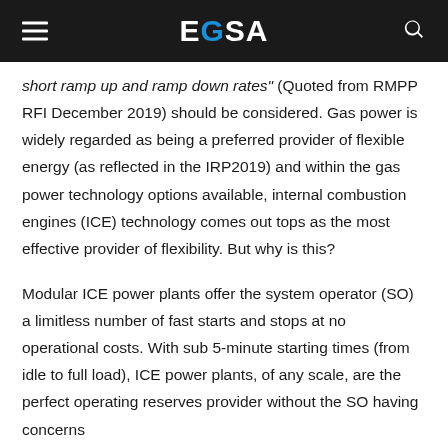EGSA
short ramp up and ramp down rates" (Quoted from RMPP RFI December 2019) should be considered. Gas power is widely regarded as being a preferred provider of flexible energy (as reflected in the IRP2019) and within the gas power technology options available, internal combustion engines (ICE) technology comes out tops as the most effective provider of flexibility. But why is this?
Modular ICE power plants offer the system operator (SO) a limitless number of fast starts and stops at no operational costs. With sub 5-minute starting times (from idle to full load), ICE power plants, of any scale, are the perfect operating reserves provider without the SO having concerns